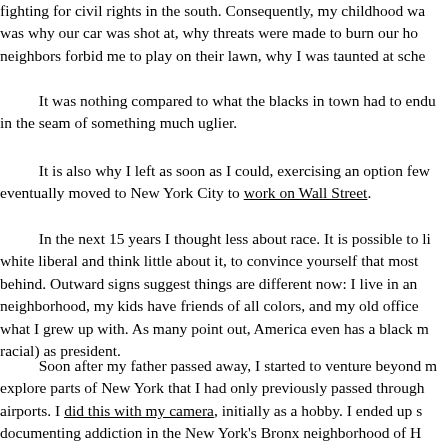fighting for civil rights in the south. Consequently, my childhood wa was why our car was shot at, why threats were made to burn our ho neighbors forbid me to play on their lawn, why I was taunted at sche
It was nothing compared to what the blacks in town had to endu in the seam of something much uglier.
It is also why I left as soon as I could, exercising an option few eventually moved to New York City to work on Wall Street.
In the next 15 years I thought less about race. It is possible to li white liberal and think little about it, to convince yourself that most behind. Outward signs suggest things are different now: I live in an neighborhood, my kids have friends of all colors, and my old office what I grew up with. As many point out, America even has a black m racial) as president.
Soon after my father passed away, I started to venture beyond m explore parts of New York that I had only previously passed through airports. I did this with my camera, initially as a hobby. I ended up s documenting addiction in the New York's Bronx neighborhood of H slapped in the face by the past.
In my Florida hometown, there is a train track that splits the tow When we passed into the black section of town, even if I were lying station wagon, I knew it. The gravel roads would wake me, and I co